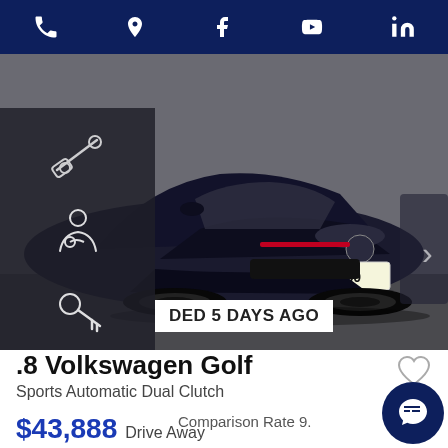Navigation bar with phone, location, Facebook, YouTube, LinkedIn icons
[Figure (photo): Dark navy Volkswagen Golf GTI hatchback car with license plate BKG-350, shown in a dealership or parking area. Black exterior. Navigation arrows on right side.]
DED 5 DAYS AGO
2018 Volkswagen Golf
Sports Automatic Dual Clutch
$43,888 Drive Away
Used
$211 Per week
Comparison Rate 9.